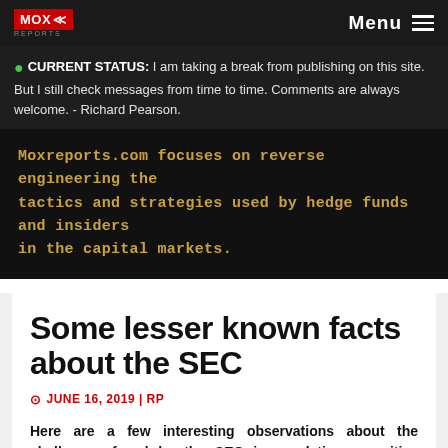MOX REPORTS | Menu
CURRENT STATUS: I am taking a break from publishing on this site. But I still check messages from time to time. Comments are always welcome. - Richard Pearson.
Moxreports.com focuses on reverse engineering the tactics and strategies used by hedge funds and insiders in the capital markets.
Some lesser known facts about the SEC
JUNE 16, 2019 | RP
Here are a few interesting observations about the challenges faced by the SEC in regulating securities markets and investment activities.
The SEC staff consists of 4,500 people and their areas of oversight include: